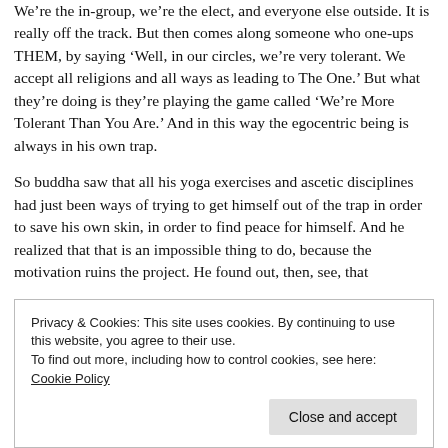We're the in-group, we're the elect, and everyone else outside. It is really off the track. But then comes along someone who one-ups THEM, by saying 'Well, in our circles, we're very tolerant. We accept all religions and all ways as leading to The One.' But what they're doing is they're playing the game called 'We're More Tolerant Than You Are.' And in this way the egocentric being is always in his own trap.
So buddha saw that all his yoga exercises and ascetic disciplines had just been ways of trying to get himself out of the trap in order to save his own skin, in order to find peace for himself. And he realized that that is an impossible thing to do, because the motivation ruins the project. He found out, then, see, that
Privacy & Cookies: This site uses cookies. By continuing to use this website, you agree to their use.
To find out more, including how to control cookies, see here: Cookie Policy
Close and accept